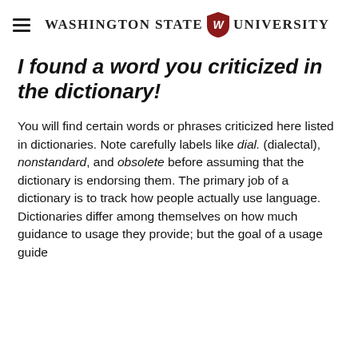Washington State University
I found a word you criticized in the dictionary!
You will find certain words or phrases criticized here listed in dictionaries. Note carefully labels like dial. (dialectal), nonstandard, and obsolete before assuming that the dictionary is endorsing them. The primary job of a dictionary is to track how people actually use language. Dictionaries differ among themselves on how much guidance to usage they provide; but the goal of a usage guide…